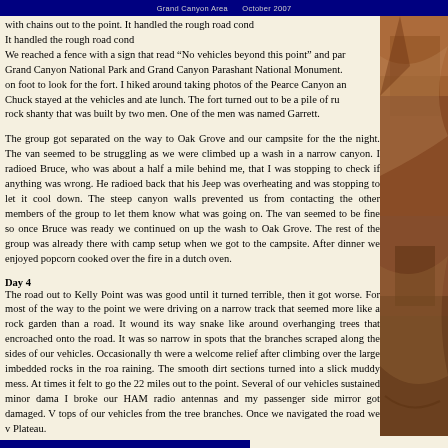Grand Canyon Area    October 2007
with chains out to the point. It handled the rough road cond We reached a fence with a sign that read “No vehicles beyond this point” and par Grand Canyon National Park and Grand Canyon Parashant National Monument. on foot to look for the fort. I hiked around taking photos of the Pearce Canyon an Chuck stayed at the vehicles and ate lunch. The fort turned out to be a pile of ru rock shanty that was built by two men. One of the men was named Garrett.
The group got separated on the way to Oak Grove and our campsite for the the night. The van seemed to be struggling as we were climbed up a wash in a narrow canyon. I radioed Bruce, who was about a half a mile behind me, that I was stopping to check if anything was wrong. He radioed back that his Jeep was overheating and was stopping to let it cool down. The steep canyon walls prevented us from contacting the other members of the group to let them know what was going on. The van seemed to be fine so once Bruce was ready we continued on up the wash to Oak Grove. The rest of the group was already there with camp setup when we got to the campsite. After dinner we enjoyed popcorn cooked over the fire in a dutch oven.
Day 4
The road out to Kelly Point was was good until it turned terrible, then it got worse. For most of the way to the point we were driving on a narrow track that seemed more like a rock garden than a road. It wound its way snake like around overhanging trees that encroached onto the road. It was so narrow in spots that the branches scraped along the sides of our vehicles. Occasionally th were a welcome relief after climbing over the large imbedded rocks in the roa raining. The smooth dirt sections turned into a slick muddy mess. At times it felt to go the 22 miles out to the point. Several of our vehicles sustained minor dama I broke our HAM radio antennas and my passenger side mirror got damaged. V tops of our vehicles from the tree branches. Once we navigated the road we v Plateau.